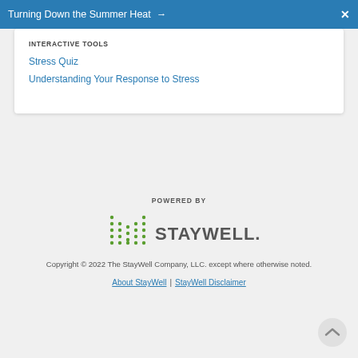Turning Down the Summer Heat →  X
INTERACTIVE TOOLS
Stress Quiz
Understanding Your Response to Stress
POWERED BY
[Figure (logo): StayWell logo with green dot-bar icon and grey STAYWELL text]
Copyright © 2022 The StayWell Company, LLC. except where otherwise noted.
About StayWell | StayWell Disclaimer